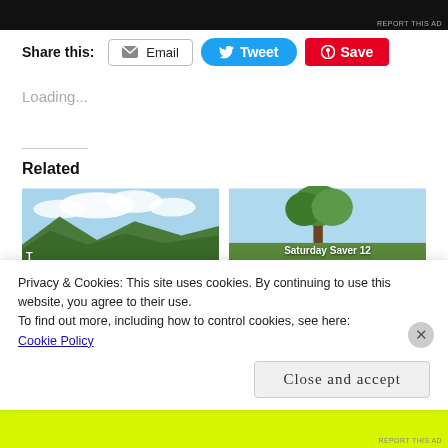[Figure (screenshot): Dark/black ad banner at top of page with 'REPORT THIS AD' text in bottom right]
Share this:
[Figure (screenshot): Email share button]
[Figure (screenshot): Tweet share button (blue, Twitter bird icon)]
[Figure (screenshot): Save button (red, Pinterest icon)]
Loading...
Related
[Figure (photo): Landscape photo with mountains, sky and clouds]
[Figure (photo): Photo with tree and sky, 'Saturday Saver 12' text overlay]
Privacy & Cookies: This site uses cookies. By continuing to use this website, you agree to their use.
To find out more, including how to control cookies, see here:
Cookie Policy
Close and accept